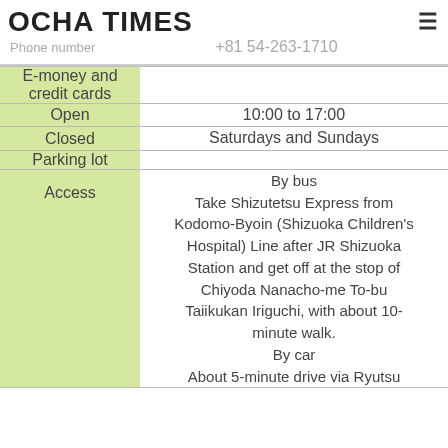OCHA TIMES
Phone number   +81 54-263-1710
|  |  |
| --- | --- |
| E-money and credit cards |  |
| Open | 10:00 to 17:00 |
| Closed | Saturdays and Sundays |
| Parking lot |  |
| Access | By bus
Take Shizutetsu Express from Kodomo-Byoin (Shizuoka Children's Hospital) Line after JR Shizuoka Station and get off at the stop of Chiyoda Nanacho-me To-bu Taiikukan Iriguchi, with about 10-minute walk.
By car
About 5-minute drive via Ryutsu |